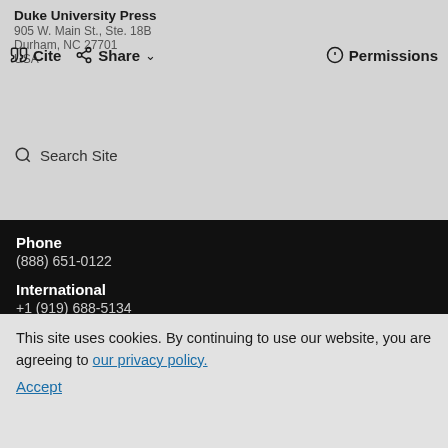Duke University Press
905 W. Main St., Ste. 18B
Durham, NC 27701
USA
Cite  Share  Permissions
Search Site
Phone
(888) 651-0122
International
+1 (919) 688-5134
Contact
Contact Us
Information For
Advertisers
Book Authors
Booksellers/Media
Educators
Journal Authors/Editors
Journal Subscribers
This site uses cookies. By continuing to use our website, you are agreeing to our privacy policy.
Accept